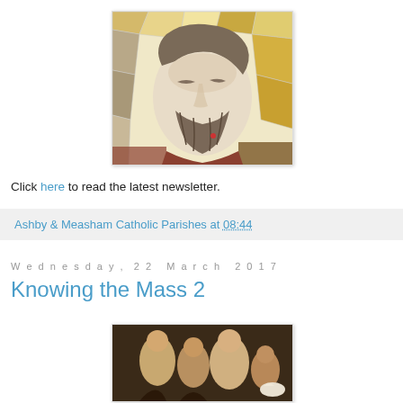[Figure (illustration): Mosaic artwork depicting a bearded face (likely Jesus Christ) with golden and grey tessellated tiles, viewed in close-up from slightly above.]
Click here to read the latest newsletter.
Ashby & Measham Catholic Parishes at 08:44
Wednesday, 22 March 2017
Knowing the Mass 2
[Figure (photo): Partial view of a religious painting or photograph showing figures, partially cropped at the bottom of the page.]